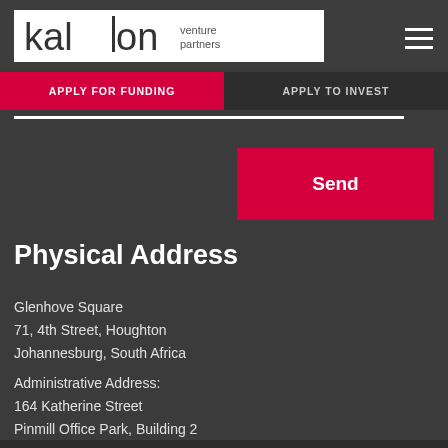to you soon.
[Figure (logo): Kalon venture partners logo — black text on white background with vertical bar in the letter l]
APPLY FOR FUNDING
APPLY TO INVEST
Send
Physical Address
Glenhove Square
71, 4th Street, Houghton
Johannesburg, South Africa
Administrative Address:
164 Katherine Street
Pinmill Office Park, Building 2
Strathavon, 2196